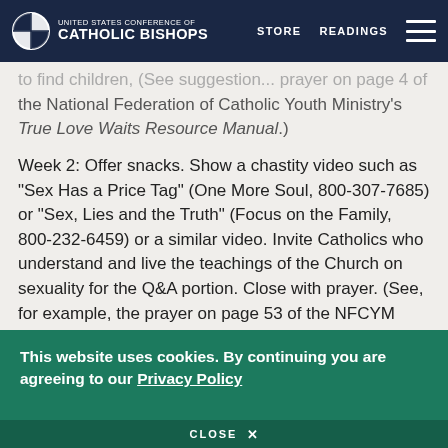United States Conference of Catholic Bishops | STORE | READINGS
to find children, (See suggestion... prayer on page 4 of the National Federation of Catholic Youth Ministry's True Love Waits Resource Manual.)
Week 2: Offer snacks. Show a chastity video such as "Sex Has a Price Tag" (One More Soul, 800-307-7685) or "Sex, Lies and the Truth" (Focus on the Family, 800-232-6459) or a similar video. Invite Catholics who understand and live the teachings of the Church on sexuality for the Q&A portion. Close with prayer. (See, for example, the prayer on page 53 of the NFCYM Manual mentioned above.)
This website uses cookies. By continuing you are agreeing to our Privacy Policy
CLOSE X